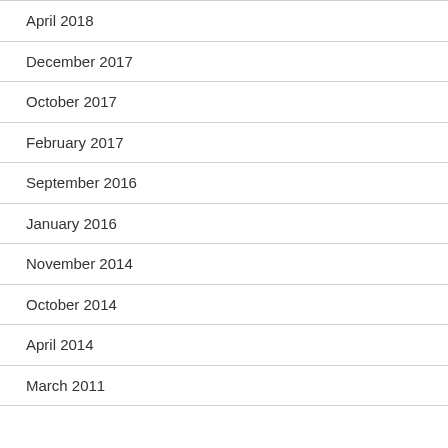April 2018
December 2017
October 2017
February 2017
September 2016
January 2016
November 2014
October 2014
April 2014
March 2011